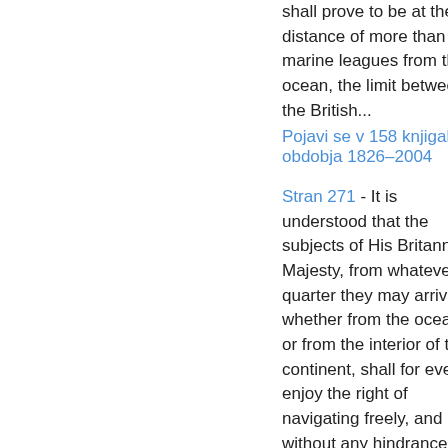shall prove to be at the distance of more than ten marine leagues from the ocean, the limit between the British...
Pojavi se v 158 knjigah iz obdobja 1826–2004
Stran 271 - It is understood that the subjects of His Britannic Majesty, from whatever quarter they may arrive, whether from the ocean, or from the interior of the continent, shall for ever enjoy the right of navigating freely, and without any hindrance whatever, all the rivers and streams which, in their course towards the Pacific Ocean, may cross the line of